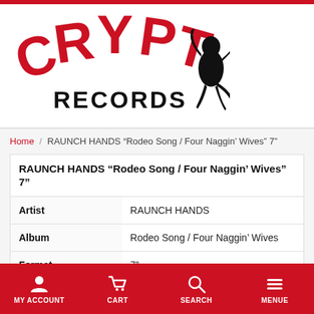[Figure (logo): Crypt Records logo with red grunge text CRYPT arched above RECORDS in black, with a black silhouette of a crouching monster figure to the right]
Home / RAUNCH HANDS “Rodeo Song / Four Naggin’ Wives” 7"
RAUNCH HANDS “Rodeo Song / Four Naggin’ Wives” 7"
| Artist | RAUNCH HANDS |
| Album | Rodeo Song / Four Naggin’ Wives |
| Format | 7" |
MY ACCOUNT   CART   SEARCH   MENUE